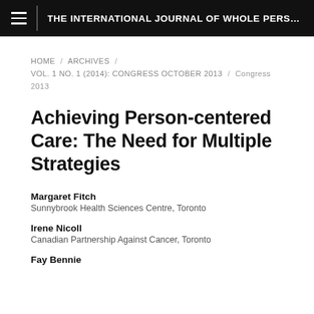THE INTERNATIONAL JOURNAL OF WHOLE PERSO...
HOME / ARCHIVES / VOL. 1 NO. 1 (2014): CONGRESS OCTOBER 2013 / Congress 2013
Achieving Person-centered Care: The Need for Multiple Strategies
Margaret Fitch
Sunnybrook Health Sciences Centre, Toronto
Irene Nicoll
Canadian Partnership Against Cancer, Toronto
Fay Bennie